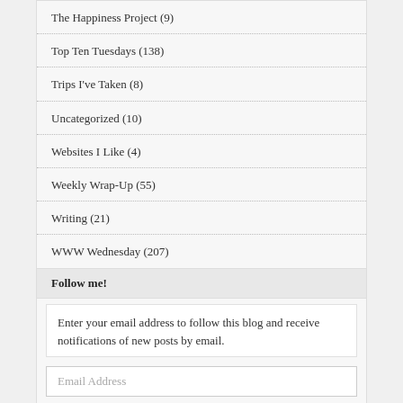The Happiness Project (9)
Top Ten Tuesdays (138)
Trips I've Taken (8)
Uncategorized (10)
Websites I Like (4)
Weekly Wrap-Up (55)
Writing (21)
WWW Wednesday (207)
Follow me!
Enter your email address to follow this blog and receive notifications of new posts by email.
Email Address